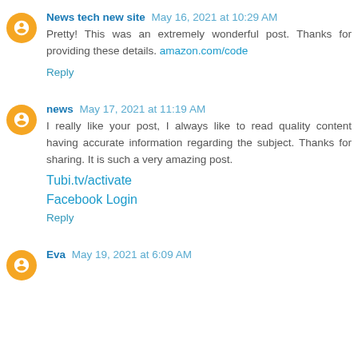News tech new site  May 16, 2021 at 10:29 AM
Pretty! This was an extremely wonderful post. Thanks for providing these details. amazon.com/code
Reply
news  May 17, 2021 at 11:19 AM
I really like your post, I always like to read quality content having accurate information regarding the subject. Thanks for sharing. It is such a very amazing post.
Tubi.tv/activate
Facebook Login
Reply
Eva  May 19, 2021 at 6:09 AM